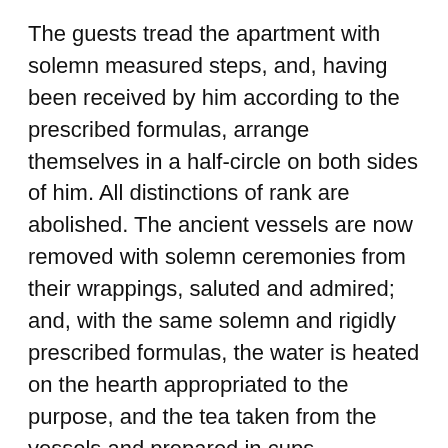The guests tread the apartment with solemn measured steps, and, having been received by him according to the prescribed formulas, arrange themselves in a half-circle on both sides of him. All distinctions of rank are abolished. The ancient vessels are now removed with solemn ceremonies from their wrappings, saluted and admired; and, with the same solemn and rigidly prescribed formulas, the water is heated on the hearth appropriated to the purpose, and the tea taken from the vessels and prepared in cups.
The tea consists of the young green leaves of the tea-shrub rubbed to powder, and is very stimulating in its effect. The beverage is taken amidst deep silence, while incense is burning on the elevated pedestal of honour," toko ;" and, after the thoughts have thus been collected, conversation begins. It is confined to abstract subjects; but politics are not always excluded.